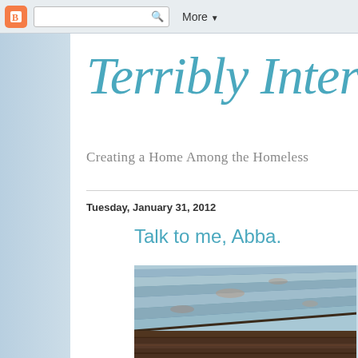Blogger toolbar with search box and More button
Terribly Interesti
Creating a Home Among the Homeless
Tuesday, January 31, 2012
Talk to me, Abba.
[Figure (photo): Photograph of wooden ceiling planks viewed from below, with weathered blue/grey painted wood boards arranged in a fan or perspective pattern, with a lower section showing dark brown wooden planks.]